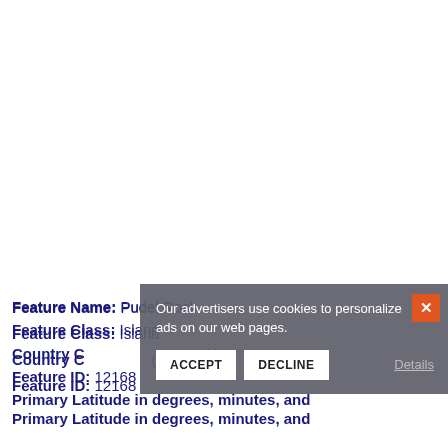Feature Name: Pudel Rock
Feature Class: Island
Country Code: (A...
Feature ID: 12168
Primary Latitude in degrees, minutes, and